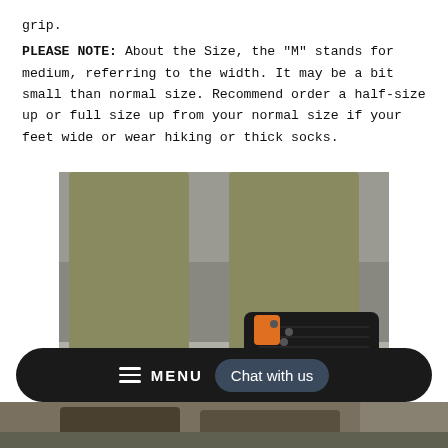grip.
PLEASE NOTE: About the Size, the "M" stands for medium, referring to the width. It may be a bit small than normal size. Recommend order a half-size up or full size up from your normal size if your feet wide or wear hiking or thick socks.
[Figure (photo): Close-up photo of a person wearing olive/khaki pants and black hiking boots with orange accents, standing on a rocky surface with snow. Both boots are partially visible.]
[Figure (screenshot): Mobile navigation bar with hamburger menu icon, MENU text, and a 'Chat with us' button on a dark rounded pill-shaped background.]
[Figure (photo): Bottom portion of another photo showing hiking boots on a surface, partially obscured.]